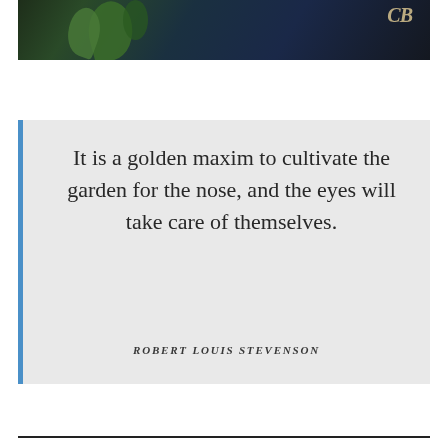[Figure (photo): Painting or photograph showing dark garden/floral scene with blue and dark tones, with a decorative 'CB' monogram in the upper right corner]
It is a golden maxim to cultivate the garden for the nose, and the eyes will take care of themselves.
ROBERT LOUIS STEVENSON